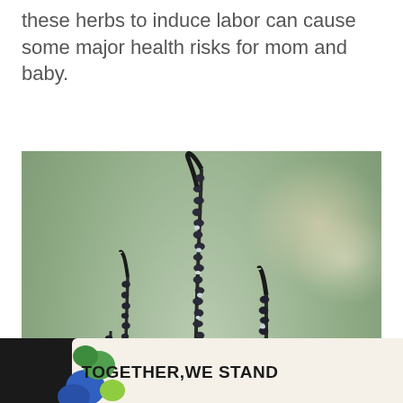these herbs to induce labor can cause some major health risks for mom and baby.
[Figure (photo): Close-up photograph of black cohosh plant with tall dark flower spikes against a blurred green and warm bokeh background]
[Figure (infographic): Advertisement banner: dark background with colorful blob shape containing text 'TOGETHER,WE STAND' in bold black letters, with a close X button and additional content on the right]